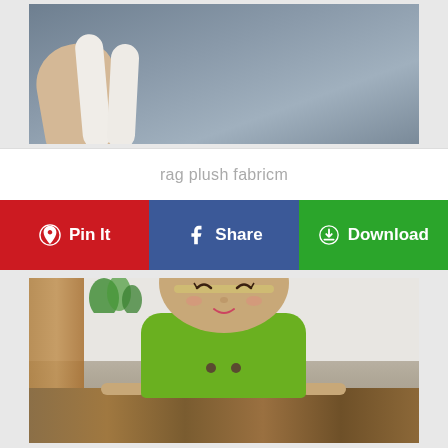[Figure (photo): A hand holding a white plush or fabric object against a gray background, partially cropped at top.]
rag plush fabricm
[Figure (infographic): Three action buttons: Pin It (red, Pinterest icon), Share (blue, Facebook icon), Download (green, download icon)]
[Figure (photo): A crocheted amigurumi doll with a tan face, gray mouse ears/buns, pink bow, green dress, and tan arms, photographed on a wood floor with a white wall and wood panel backdrop.]